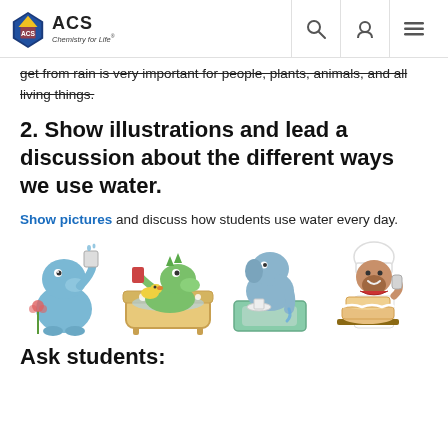ACS Chemistry for Life
get from rain is very important for people, plants, animals, and all living things.
2. Show illustrations and lead a discussion about the different ways we use water.
Show pictures and discuss how students use water every day.
[Figure (illustration): Four cartoon animal illustrations showing different water uses: a blue creature drinking water, a green dinosaur in a bathtub with bubbles, a blue elephant washing dishes at a sink, and a chef character decorating a cake.]
Ask students: